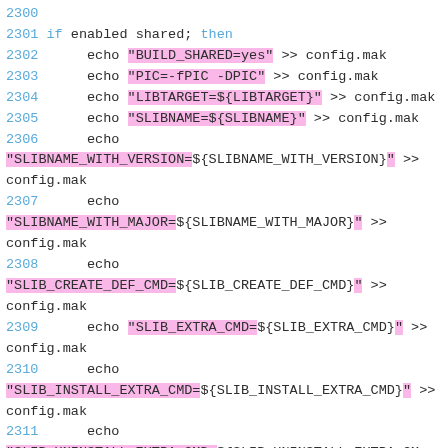[Figure (screenshot): Source code screenshot showing shell script lines 2300-2312, with line numbers in blue, keyword 'then' in blue, and string literals highlighted in pink/magenta background. Code writes various build configuration variables to config.mak using echo and >> redirection.]